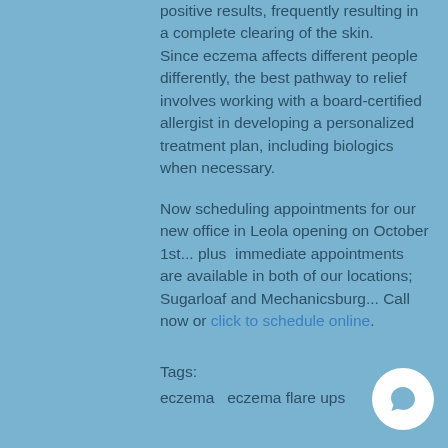positive results, frequently resulting in a complete clearing of the skin.
Since eczema affects different people differently, the best pathway to relief involves working with a board-certified allergist in developing a personalized treatment plan, including biologics when necessary.
Now scheduling appointments for our new office in Leola opening on October 1st... plus immediate appointments are available in both of our locations; Sugarloaf and Mechanicsburg... Call now or click to schedule online.
Tags:
eczema   eczema flare ups